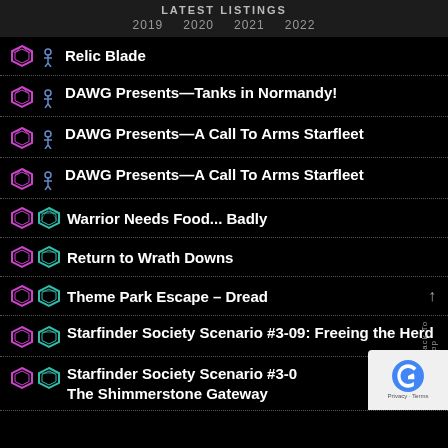LATEST LISTINGS 2019 2020 2021 2022
Relic Blade
DAWG Presents—Tanks in Normandy!
DAWG Presents—A Call To Arms Starfleet
DAWG Presents—A Call To Arms Starfleet
Warrior Needs Food... Badly
Return to Wrath Downs
Theme Park Escape – Dread
Starfinder Society Scenario #3-09: Freeing the Herd
Starfinder Society Scenario #3-0 The Shimmerstone Gateway